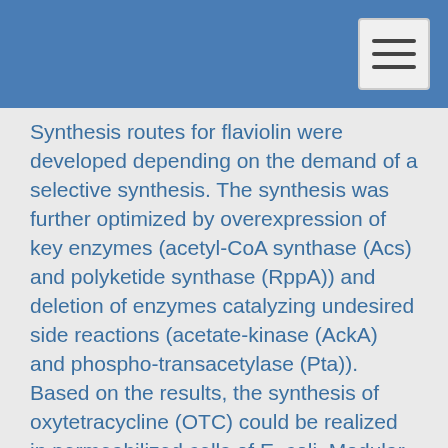Synthesis routes for flaviolin were developed depending on the demand of a selective synthesis. The synthesis was further optimized by overexpression of key enzymes (acetyl-CoA synthase (Acs) and polyketide synthase (RppA)) and deletion of enzymes catalyzing undesired side reactions (acetate-kinase (AckA) and phospho-transacetylase (Pta)). Based on the results, the synthesis of oxytetracycline (OTC) could be realized in permeabilized cells of E. coli. Modular supply modules supporting the reaction were developed for the essential cofactors ATP; NADPH and SAM regarding the demands of in situ synthesis. The productivity of one gram of the biocatalyst mixture, containing of five strains of E. coli, could be determined as 3,6·10^(-3) nmol oxytetracycline per hour, reaching a final concentration of 1,88·10^(-3) mmol/L. For the synthesis of complex polyketide secondary metabolites, this proof of principle